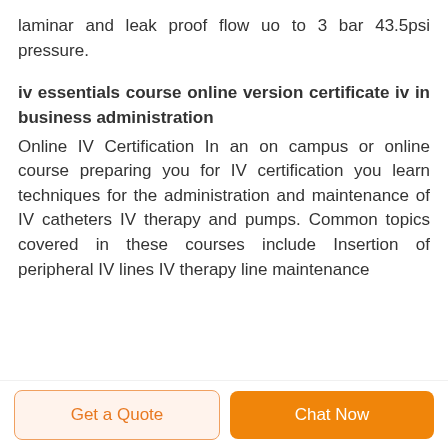laminar and leak proof flow uo to 3 bar 43.5psi pressure.
iv essentials course online version certificate iv in business administration
Online IV Certification In an on campus or online course preparing you for IV certification you learn techniques for the administration and maintenance of IV catheters IV therapy and pumps. Common topics covered in these courses include Insertion of peripheral IV lines IV therapy line maintenance
Get a Quote
Chat Now